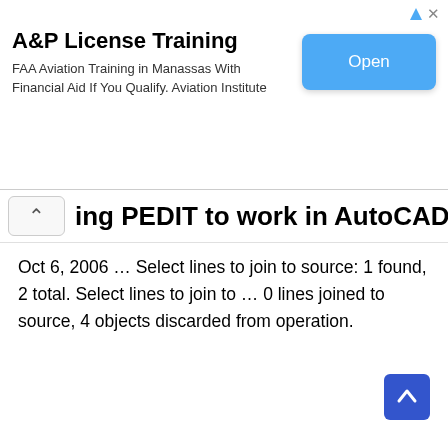[Figure (screenshot): Advertisement banner: A&P License Training. FAA Aviation Training in Manassas With Financial Aid If You Qualify. Aviation Institute. Blue 'Open' button on the right. AdChoices and close-X icons in top-right corner.]
ing PEDIT to work in AutoCAD 200?
Oct 6, 2006 … Select lines to join to source: 1 found, 2 total. Select lines to join to … 0 lines joined to source, 4 objects discarded from operation.